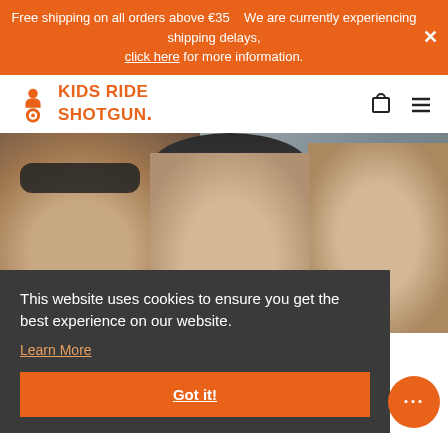Free shipping on all orders above €35    We are currently experiencing shipping delays, click here for more information.
[Figure (logo): Kids Ride Shotgun logo with orange icon and text]
[Figure (photo): Family cycling photo showing a man with sunglasses, children with helmets, and a woman in red flannel shirt]
This website uses cookies to ensure you get the best experience on our website.
Learn More
Got it!
ed.